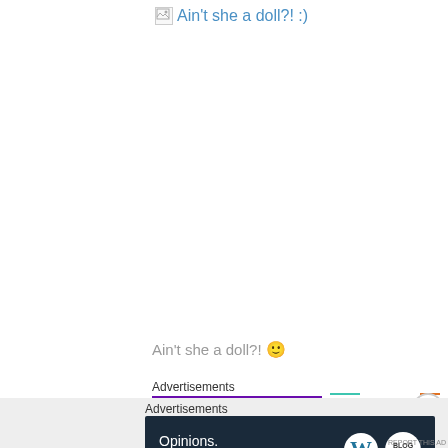[Figure (other): Broken image link showing 'Ain't she a doll?! :)' as alt text with broken image icon]
Ain't she a doll?! 🙂
Advertisements
Advertisements
[Figure (other): Advertisement banner: 'Opinions. We all have them!' with WordPress and Blog logos on dark navy background]